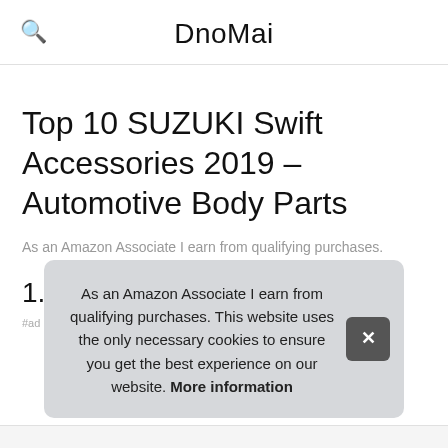DnoMai
Top 10 SUZUKI Swift Accessories 2019 – Automotive Body Parts
As an Amazon Associate I earn from qualifying purchases.
1. [obscured]
As an Amazon Associate I earn from qualifying purchases. This website uses the only necessary cookies to ensure you get the best experience on our website. More information